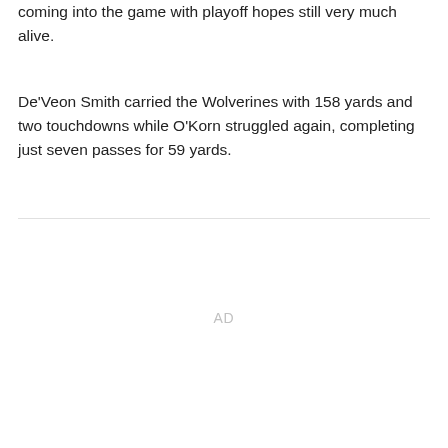coming into the game with playoff hopes still very much alive.
De'Veon Smith carried the Wolverines with 158 yards and two touchdowns while O'Korn struggled again, completing just seven passes for 59 yards.
AD